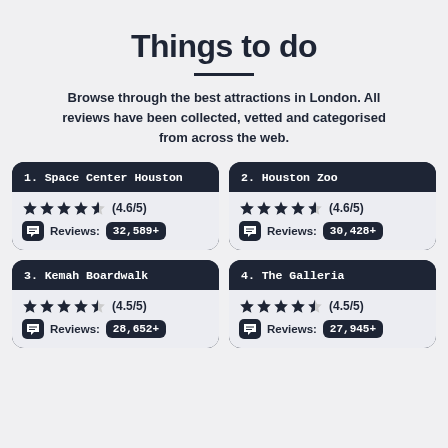Things to do
Browse through the best attractions in London. All reviews have been collected, vetted and categorised from across the web.
1. Space Center Houston — 4.6/5 — Reviews: 32,589+
2. Houston Zoo — 4.6/5 — Reviews: 30,428+
3. Kemah Boardwalk — 4.5/5 — Reviews: 28,652+
4. The Galleria — 4.5/5 — Reviews: 27,945+